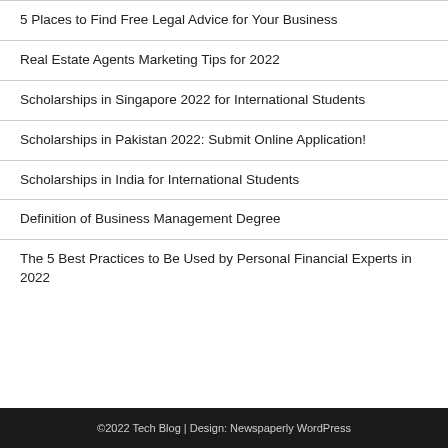5 Places to Find Free Legal Advice for Your Business
Real Estate Agents Marketing Tips for 2022
Scholarships in Singapore 2022 for International Students
Scholarships in Pakistan 2022: Submit Online Application!
Scholarships in India for International Students
Definition of Business Management Degree
The 5 Best Practices to Be Used by Personal Financial Experts in 2022
©2022 Tech Blog | Design: Newspaperly WordPress